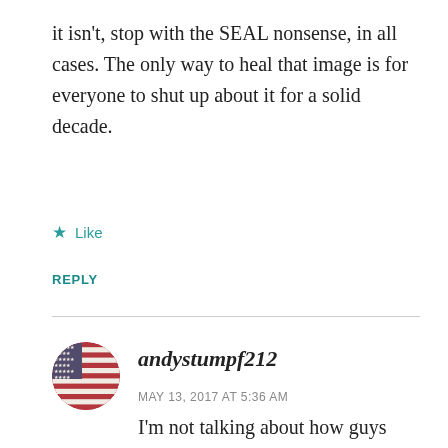it isn't, stop with the SEAL nonsense, in all cases. The only way to heal that image is for everyone to shut up about it for a solid decade.
Like
REPLY
[Figure (illustration): Circular avatar showing an American flag with stars and stripes, used as a profile picture.]
andystumpf212
MAY 13, 2017 AT 5:36 AM
I'm not talking about how guys may or may not refer to themselves, I was talking about the difference in